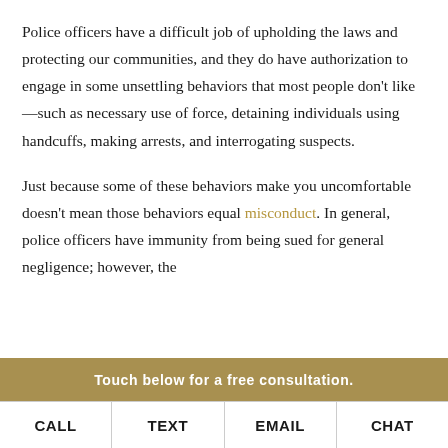Police officers have a difficult job of upholding the laws and protecting our communities, and they do have authorization to engage in some unsettling behaviors that most people don't like—such as necessary use of force, detaining individuals using handcuffs, making arrests, and interrogating suspects.
Just because some of these behaviors make you uncomfortable doesn't mean those behaviors equal misconduct. In general, police officers have immunity from being sued for general negligence; however, the
Touch below for a free consultation.
CALL  TEXT  EMAIL  CHAT